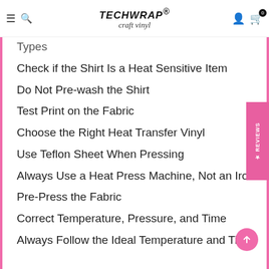TechWrap craft vinyl
Types
Check if the Shirt Is a Heat Sensitive Item
Do Not Pre-wash the Shirt
Test Print on the Fabric
Choose the Right Heat Transfer Vinyl
Use Teflon Sheet When Pressing
Always Use a Heat Press Machine, Not an Iron
Pre-Press the Fabric
Correct Temperature, Pressure, and Time
Always Follow the Ideal Temperature and Time